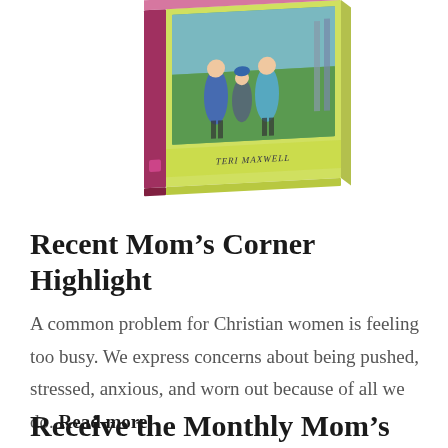[Figure (photo): A 3D book cover showing three children walking together outdoors, with a green/yellow cover, pink spine, and 'Teri Maxwell' as author name at the bottom.]
Recent Mom’s Corner Highlight
A common problem for Christian women is feeling too busy. We express concerns about being pushed, stressed, anxious, and worn out because of all we do. Read more.
Receive the Monthly Mom’s Corner